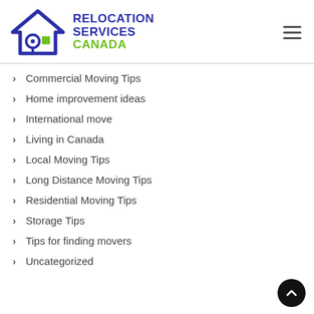[Figure (logo): Relocation Services Canada logo with house icon and text]
Commercial Moving Tips
Home improvement ideas
International move
Living in Canada
Local Moving Tips
Long Distance Moving Tips
Residential Moving Tips
Storage Tips
Tips for finding movers
Uncategorized